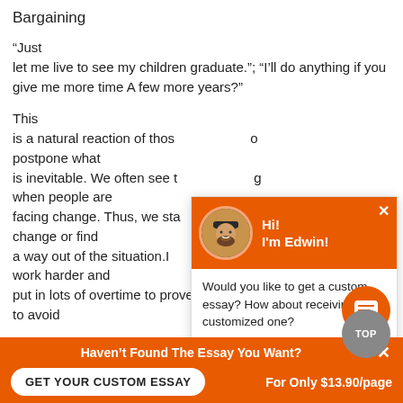Bargaining
“Just let me live to see my children graduate.”; “I’ll do anything if you give me more time A few more years?”
This is a natural reaction of those who want to postpone what is inevitable. We often see this bargaining when people are facing change. Thus, we start to change or find a way out of the situation.In order to do this, people work harder and put in lots of overtime to prove themselves invaluable to avoid
[Figure (screenshot): Chat popup with orange header showing avatar of man named Edwin and text: Would you like to get a custom essay? How about receiving a customized one? Check it out]
[Figure (screenshot): Orange chat bubble button and grey TOP button in bottom right]
[Figure (screenshot): Bottom orange bar: Haven't Found The Essay You Want? GET YOUR CUSTOM ESSAY | For Only $13.90/page]